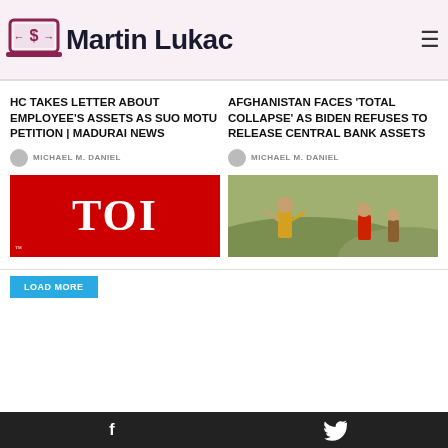[Figure (logo): Martin Lukac website logo with laptop/dollar sign icon and site name text]
HC TAKES LETTER ABOUT EMPLOYEE'S ASSETS AS SUO MOTU PETITION | MADURAI NEWS
MICHAEL M. DANIEL
[Figure (photo): Times of India (TOI) logo on red background]
AFGHANISTAN FACES 'TOTAL COLLAPSE' AS BIDEN REFUSES TO RELEASE CENTRAL BANK ASSETS
MICHAEL M. DANIEL
[Figure (photo): Children in Afghanistan outdoors in a rocky/desert environment]